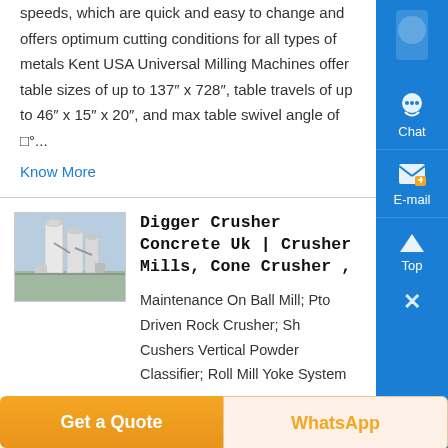speeds, which are quick and easy to change and offers optimum cutting conditions for all types of metals Kent USA Universal Milling Machines offer table sizes of up to 137″ x 728″, table travels of up to 46″ x 15″ x 20″, and max table swivel angle of □°...
Know More
[Figure (photo): Industrial facility photo showing large vertical silos/tanks with conveyor structures in an outdoor industrial setting]
Digger Crusher Concrete Uk | Crusher Mills, Cone Crusher ,
Maintenance On Ball Mill; Pto Driven Rock Crusher; Sh Cushers Vertical Powder Classifier; Roll Mill Yoke System